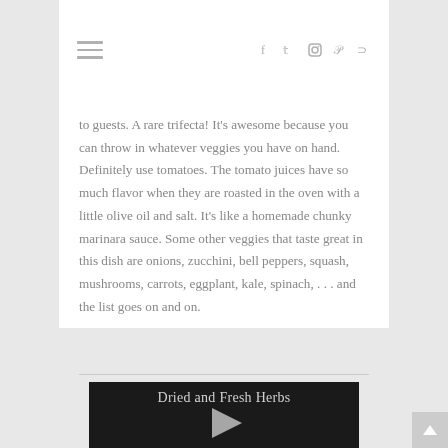≡  f  t  ◎  ℗  ⊃
to guests. A rare trifecta! It's awesome because you can throw in whatever veggies you have on hand. Definitely use tomatoes. The tomato juices have so much flavor when they are roasted in the oven with a little olive oil and salt. It's like a homemade chunky marinara sauce. Some other veggies that taste great in this dish are onions, zucchini, bell peppers, squash, mushrooms, carrots, eggplant, kale, spinach, . . . and the list goes on and on.
[Figure (screenshot): Video thumbnail with dark background showing title 'Dried and Fresh Herbs' and a play button arrow]